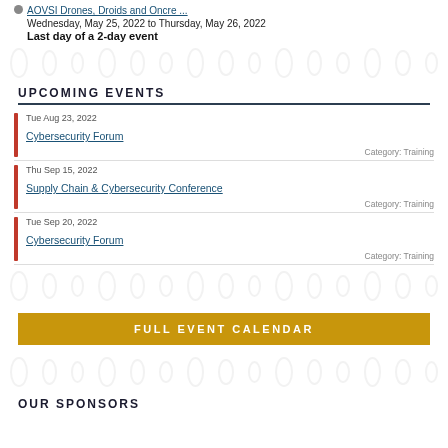AOVSI Drones, Droids and Oncre ...
Wednesday, May 25, 2022 to Thursday, May 26, 2022
Last day of a 2-day event
UPCOMING EVENTS
Tue Aug 23, 2022
Cybersecurity Forum
Category: Training
Thu Sep 15, 2022
Supply Chain & Cybersecurity Conference
Category: Training
Tue Sep 20, 2022
Cybersecurity Forum
Category: Training
FULL EVENT CALENDAR
OUR SPONSORS